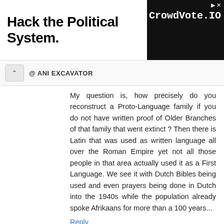[Figure (screenshot): Advertisement banner reading 'Hack the Political System.' on the left and a dark box with 'CrowdVote.IO' on the right]
@ ANI EXCAVATOR
My question is, how precisely do you reconstruct a Proto-Language family if you do not have written proof of Older Branches of that family that went extinct ? Then there is Latin that was used as written language all over the Roman Empire yet not all those people in that area actually used it as a First Language. We see it with Dutch Bibles being used and even prayers being done in Dutch into the 1940s while the population already spoke Afrikaans for more than a 100 years...
Reply
Drago  January 22, 2019 at 10:00 PM
You should read the articles by Enrodi , who provides the samples on BB Csepel., which are clearer and more detailed than the Supp